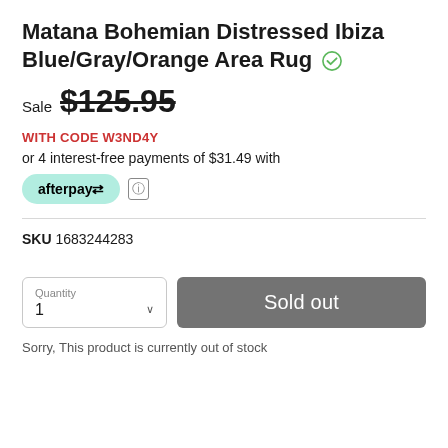Matana Bohemian Distressed Ibiza Blue/Gray/Orange Area Rug
Sale $125.95
WITH CODE W3ND4Y
or 4 interest-free payments of $31.49 with
[Figure (logo): Afterpay logo button in mint green rounded rectangle]
SKU 1683244283
Sold out
Sorry, This product is currently out of stock